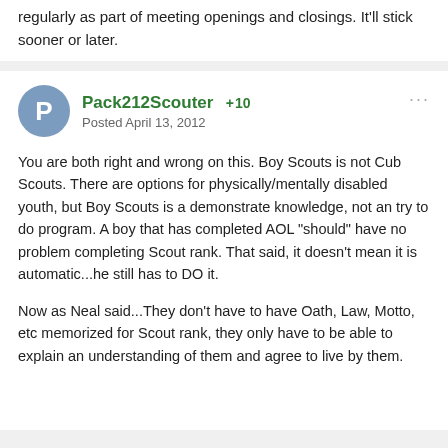regularly as part of meeting openings and closings. It'll stick sooner or later.
Pack212Scouter +10
Posted April 13, 2012
You are both right and wrong on this. Boy Scouts is not Cub Scouts. There are options for physically/mentally disabled youth, but Boy Scouts is a demonstrate knowledge, not an try to do program. A boy that has completed AOL "should" have no problem completing Scout rank. That said, it doesn't mean it is automatic...he still has to DO it.
Now as Neal said...They don't have to have Oath, Law, Motto, etc memorized for Scout rank, they only have to be able to explain an understanding of them and agree to live by them.